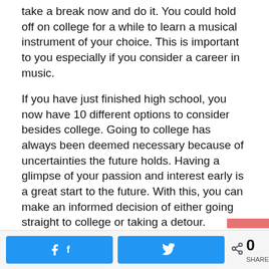take a break now and do it. You could hold off on college for a while to learn a musical instrument of your choice. This is important to you especially if you consider a career in music.
If you have just finished high school, you now have 10 different options to consider besides college. Going to college has always been deemed necessary because of uncertainties the future holds. Having a glimpse of your passion and interest early is a great start to the future. With this, you can make an informed decision of either going straight to college or taking a detour.
If you have any thoughts or comments, let's know in the comment section.